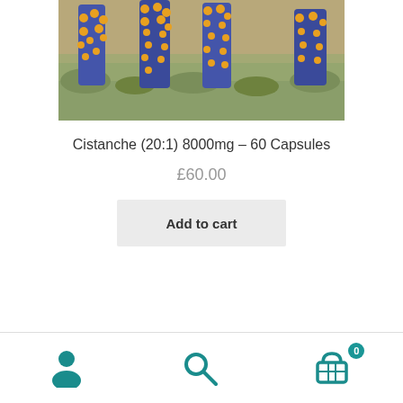[Figure (photo): Tall blue and yellow flowering plants (Echium or similar species) standing in an arid, scrubby landscape. Multiple columnar flower spikes visible against a sandy, brushy background.]
Cistanche (20:1) 8000mg – 60 Capsules
£60.00
Add to cart
Navigation bar with user icon, search icon, and cart icon with badge showing 0